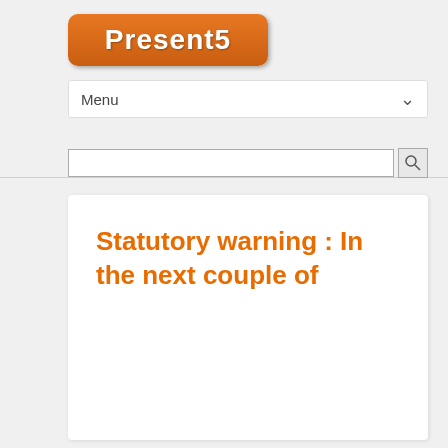[Figure (logo): Present5 logo — orange rounded rectangle with white bold text 'Present5']
Menu
[Figure (screenshot): Search input box with magnifying glass search button]
Statutory warning : In the next couple of